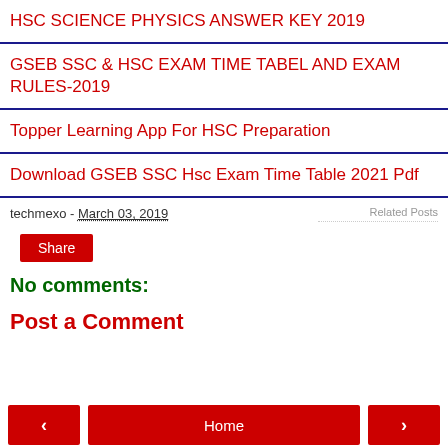HSC SCIENCE PHYSICS ANSWER KEY 2019
GSEB SSC & HSC EXAM TIME TABEL AND EXAM RULES-2019
Topper Learning App For HSC Preparation
Download GSEB SSC Hsc Exam Time Table 2021 Pdf
techmexo - March 03, 2019
Related Posts
Share
No comments:
Post a Comment
< Home >